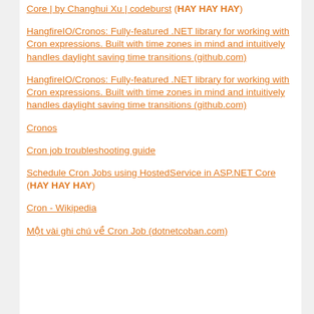Core | by Changhui Xu | codeburst (HAY HAY HAY)
HangfireIO/Cronos: Fully-featured .NET library for working with Cron expressions. Built with time zones in mind and intuitively handles daylight saving time transitions (github.com)
HangfireIO/Cronos: Fully-featured .NET library for working with Cron expressions. Built with time zones in mind and intuitively handles daylight saving time transitions (github.com)
Cronos
Cron job troubleshooting guide
Schedule Cron Jobs using HostedService in ASP.NET Core (HAY HAY HAY)
Cron - Wikipedia
Một vài ghi chú về Cron Job (dotnetcoban.com)